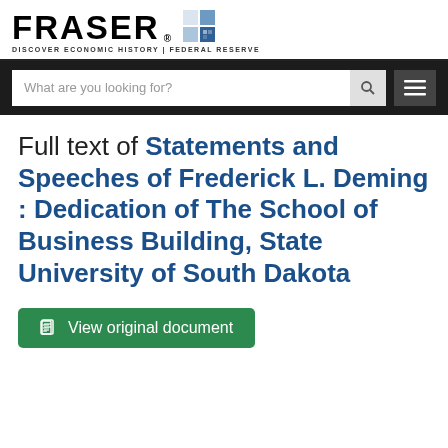FRASER — DISCOVER ECONOMIC HISTORY | FEDERAL RESERVE
Full text of Statements and Speeches of Frederick L. Deming : Dedication of The School of Business Building, State University of South Dakota
View original document